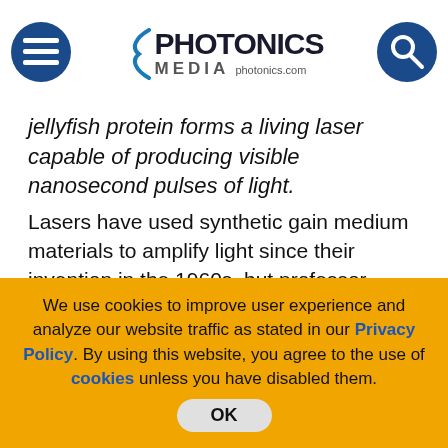Photonics Media — photonics.com
jellyfish protein forms a living laser capable of producing visible nanosecond pulses of light.
Lasers have used synthetic gain medium materials to amplify light since their invention in the 1960s, but professor Seok-Hyun Yun and colleague Malte Gather of the Wellman Center for Photomedicine at Massachusetts General Hospital are instead using green fluorescent protein (GFP) as their gain material.
[Figure (photo): Microscope image of a single cell showing green fluorescent light spot against dark background]
Microscope image of a single-cell
We use cookies to improve user experience and analyze our website traffic as stated in our Privacy Policy. By using this website, you agree to the use of cookies unless you have disabled them.